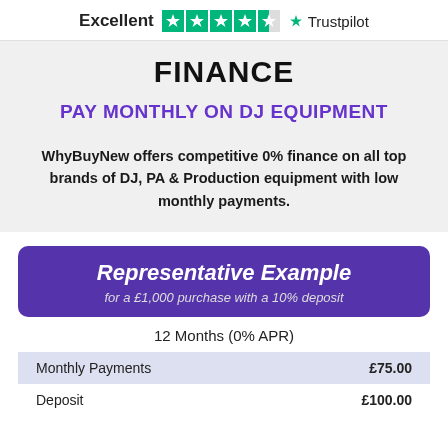Excellent ★★★★★ Trustpilot
FINANCE
PAY MONTHLY ON DJ EQUIPMENT
WhyBuyNew offers competitive 0% finance on all top brands of DJ, PA & Production equipment with low monthly payments.
Representative Example for a £1,000 purchase with a 10% deposit
12 Months (0% APR)
| Monthly Payments | £75.00 |
| Deposit | £100.00 |